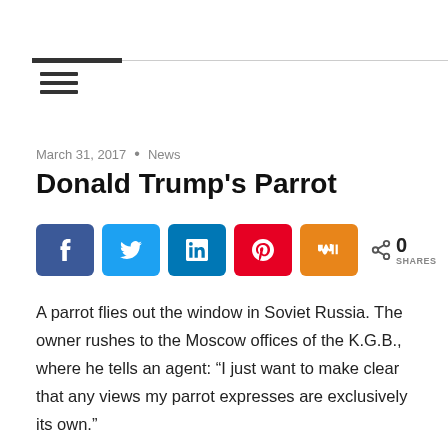March 31, 2017 • News
Donald Trump's Parrot
[Figure (infographic): Social share buttons row: Facebook, Twitter, LinkedIn, Pinterest, Mix; share count 0 SHARES]
A parrot flies out the window in Soviet Russia. The owner rushes to the Moscow offices of the K.G.B., where he tells an agent: “I just want to make clear that any views my parrot expresses are exclusively its own.”